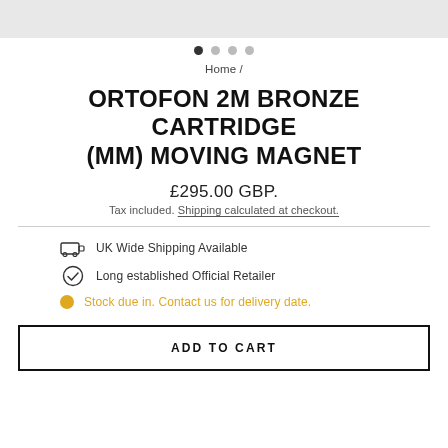[Figure (photo): Product image area (gray/cropped)]
• • • •  (image carousel dots, first active)
Home /
ORTOFON 2M BRONZE CARTRIDGE (MM) MOVING MAGNET
£295.00 GBP.
Tax included. Shipping calculated at checkout.
UK Wide Shipping Available
Long established Official Retailer
Stock due in. Contact us for delivery date.
ADD TO CART